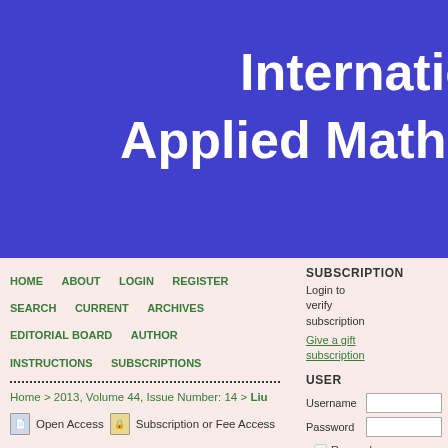Internatio...
Applied Mathem...
HOME   ABOUT   LOGIN   REGISTER
SEARCH   CURRENT   ARCHIVES
EDITORIAL BOARD   AUTHOR
INSTRUCTIONS   SUBSCRIPTIONS
SUBSCRIPTION
Login to verify subscription
Give a gift subscription
USER
Username
Password
Remember me
Login
Home > 2013, Volume 44, Issue Number: 14 > Liu
Open Access   Subscription or Fee Access
Detection of High-speed